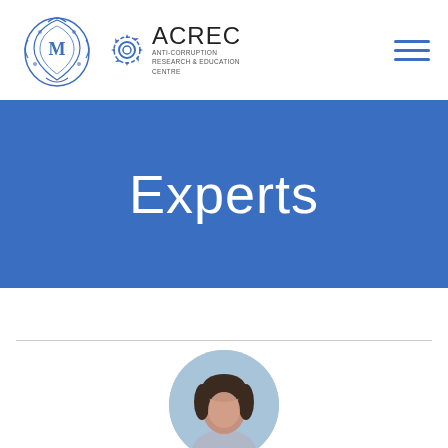[Figure (logo): University crest logo (blue heraldic emblem) and ACREC (Anti-Corruption Research & Education Centre) gear-icon logo with text]
[Figure (other): Hamburger menu icon (three horizontal blue lines) in top right corner]
Experts
[Figure (photo): Circular portrait photo of a person with dark hair, partially visible at the bottom of the page]